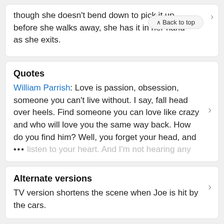though she doesn't bend down to pick it up before she walks away, she has it in her hand as she exits.
Quotes
William Parrish: Love is passion, obsession, someone you can't live without. I say, fall head over heels. Find someone you can love like crazy and who will love you the same way back. How do you find him? Well, you forget your head, and ... listen to your heart. And I'm not hearing any
Alternate versions
TV version shortens the scene when Joe is hit by the cars.
Connections
Featured in